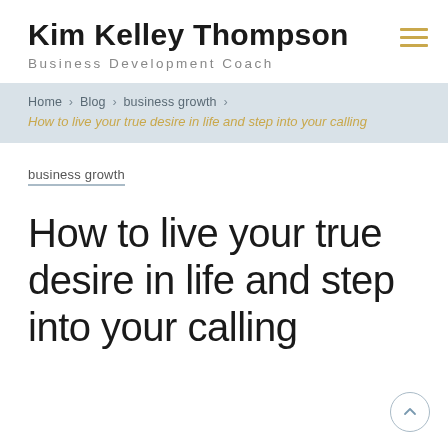Kim Kelley Thompson
Business Development Coach
Home > Blog > business growth > How to live your true desire in life and step into your calling
business growth
How to live your true desire in life and step into your calling